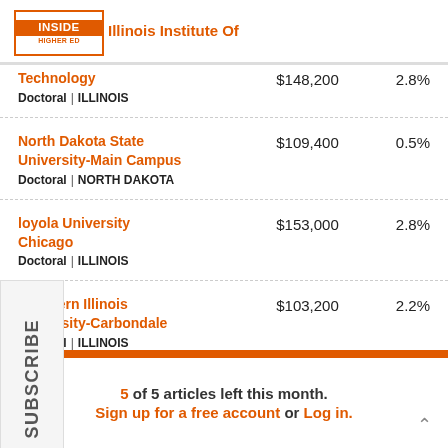Inside Higher Ed
| Institution | Salary | Change |
| --- | --- | --- |
| Illinois Institute of Technology | Doctoral | ILLINOIS | $148,200 | 2.8% |
| North Dakota State University-Main Campus | Doctoral | NORTH DAKOTA | $109,400 | 0.5% |
| Loyola University Chicago | Doctoral | ILLINOIS | $153,000 | 2.8% |
| Southern Illinois University-Carbondale | Doctoral | ILLINOIS | $103,200 | 2.2% |
5 of 5 articles left this month. Sign up for a free account or Log in.